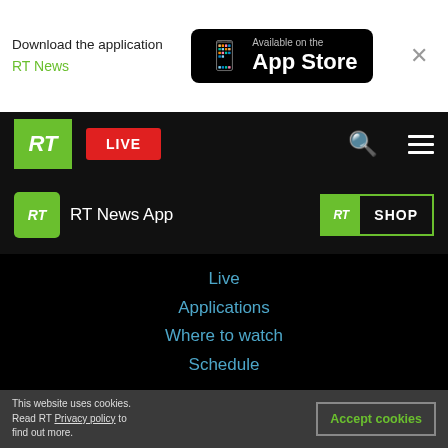Download the application RT News
[Figure (logo): Available on the App Store button (black rounded rectangle with phone icon)]
[Figure (logo): RT logo green box with white RT italic text]
LIVE
[Figure (logo): RT News App logo and label]
[Figure (logo): RT SHOP button]
Live
Applications
Where to watch
Schedule
This website uses cookies. Read RT Privacy policy to find out more.
Accept cookies